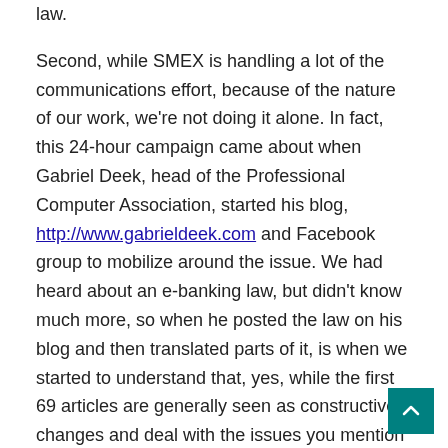law.
Second, while SMEX is handling a lot of the communications effort, because of the nature of our work, we're not doing it alone. In fact, this 24-hour campaign came about when Gabriel Deek, head of the Professional Computer Association, started his blog, http://www.gabrieldeek.com and Facebook group to mobilize around the issue. We had heard about an e-banking law, but didn't know much more, so when he posted the law on his blog and then translated parts of it, is when we started to understand that, yes, while the first 69 articles are generally seen as constructive changes and deal with the issues you mention